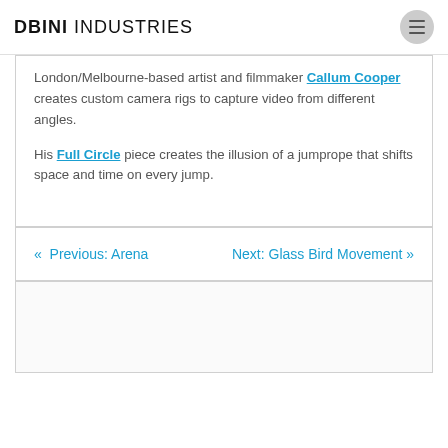DBINI INDUSTRIES
London/Melbourne-based artist and filmmaker Callum Cooper creates custom camera rigs to capture video from different angles.
His Full Circle piece creates the illusion of a jumprope that shifts space and time on every jump.
« Previous: Arena
Next: Glass Bird Movement »